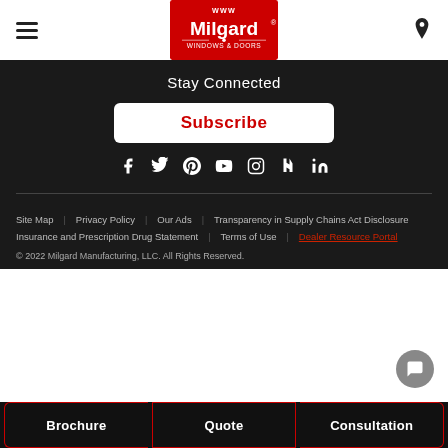Milgard Windows & Doors - navigation header with hamburger menu and location icon
Stay Connected
Subscribe
[Figure (infographic): Social media icons row: Facebook, Twitter, Pinterest, YouTube, Instagram, Houzz, LinkedIn]
Site Map | Privacy Policy | Our Ads | Transparency in Supply Chains Act Disclosure | Insurance and Prescription Drug Statement | Terms of Use | Dealer Resource Portal
© 2022 Milgard Manufacturing, LLC. All Rights Reserved.
Brochure | Quote | Consultation